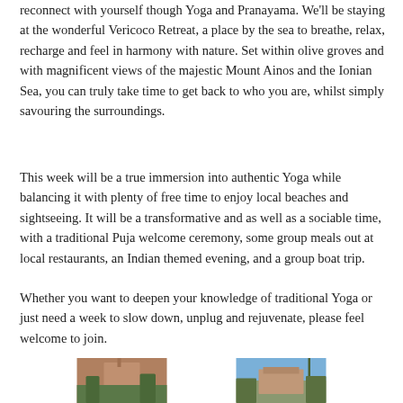reconnect with yourself though Yoga and Pranayama. We'll be staying at the wonderful Vericoco Retreat, a place by the sea to breathe, relax, recharge and feel in harmony with nature. Set within olive groves and with magnificent views of the majestic Mount Ainos and the Ionian Sea, you can truly take time to get back to who you are, whilst simply savouring the surroundings.
This week will be a true immersion into authentic Yoga while balancing it with plenty of free time to enjoy local beaches and sightseeing. It will be a transformative and as well as a sociable time, with a traditional Puja welcome ceremony, some group meals out at local restaurants, an Indian themed evening, and a group boat trip.
Whether you want to deepen your knowledge of traditional Yoga or just need a week to slow down, unplug and rejuvenate, please feel welcome to join.
[Figure (photo): Two photos side by side of the Vericoco Retreat - left shows a pink/terracotta building with trees, right shows a Mediterranean-style building with olive trees and blue sky]